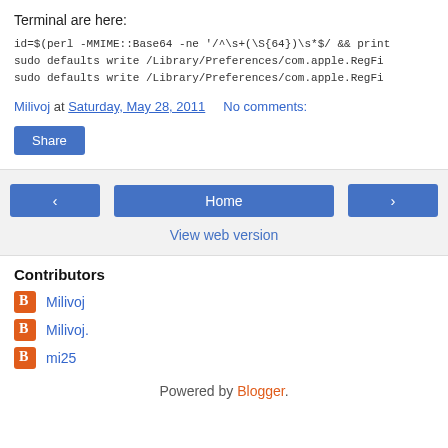Terminal are here:
id=$(perl -MMIME::Base64 -ne '/^\s+(\S{64})\s*$/ && print
sudo defaults write /Library/Preferences/com.apple.RegFi
sudo defaults write /Library/Preferences/com.apple.RegFi
Milivoj at Saturday, May 28, 2011   No comments:
Share
< Home >
View web version
Contributors
Milivoj
Milivoj.
mi25
Powered by Blogger.